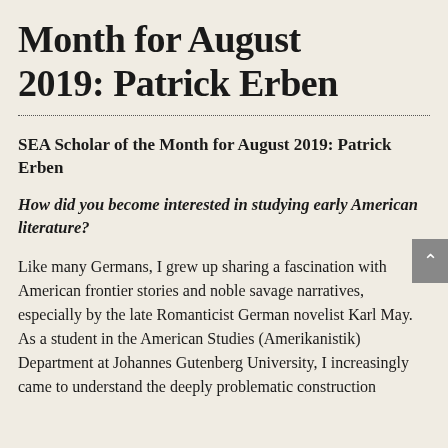Month for August 2019: Patrick Erben
SEA Scholar of the Month for August 2019: Patrick Erben
How did you become interested in studying early American literature?
Like many Germans, I grew up sharing a fascination with American frontier stories and noble savage narratives, especially by the late Romanticist German novelist Karl May. As a student in the American Studies (Amerikanistik) Department at Johannes Gutenberg University, I increasingly came to understand the deeply problematic construction